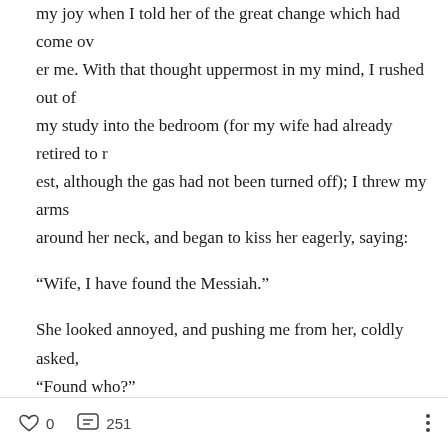my joy when I told her of the great change which had come over me. With that thought uppermost in my mind, I rushed out of my study into the bedroom (for my wife had already retired to rest, although the gas had not been turned off); I threw my arms around her neck, and began to kiss her eagerly, saying:
“Wife, I have found the Messiah.”
She looked annoyed, and pushing me from her, coldly asked, “Found who?”
“Jesus Christ, my Messiah and Saviour,” was my ready reply.
She spoke not another word, but in less than five minutes was d
0  251